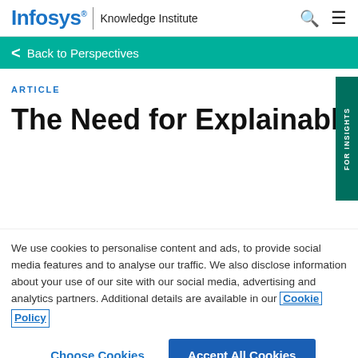Infosys® | Knowledge Institute
Back to Perspectives
ARTICLE
The Need for Explainable AI
We use cookies to personalise content and ads, to provide social media features and to analyse our traffic. We also disclose information about your use of our site with our social media, advertising and analytics partners. Additional details are available in our Cookie Policy
Choose Cookies    Accept All Cookies